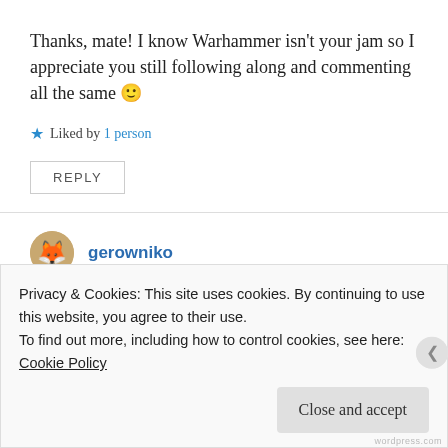Thanks, mate! I know Warhammer isn't your jam so I appreciate you still following along and commenting all the same 🙂
★ Liked by 1 person
REPLY
gerowniko
March 15, 2021 at 2:45 pm
Privacy & Cookies: This site uses cookies. By continuing to use this website, you agree to their use.
To find out more, including how to control cookies, see here:
Cookie Policy
Close and accept